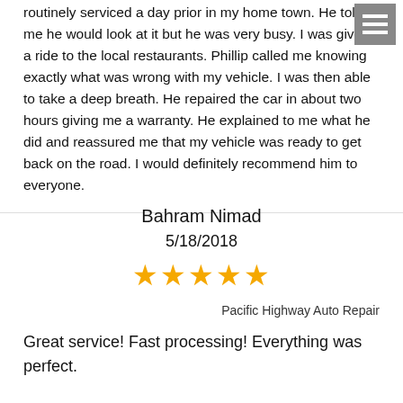routinely serviced a day prior in my home town. He told me he would look at it but he was very busy. I was given a ride to the local restaurants. Phillip called me knowing exactly what was wrong with my vehicle. I was then able to take a deep breath. He repaired the car in about two hours giving me a warranty. He explained to me what he did and reassured me that my vehicle was ready to get back on the road. I would definitely recommend him to everyone.
Bahram Nimad
5/18/2018
[Figure (other): Five gold star rating icons]
Pacific Highway Auto Repair
Great service! Fast processing! Everything was perfect.